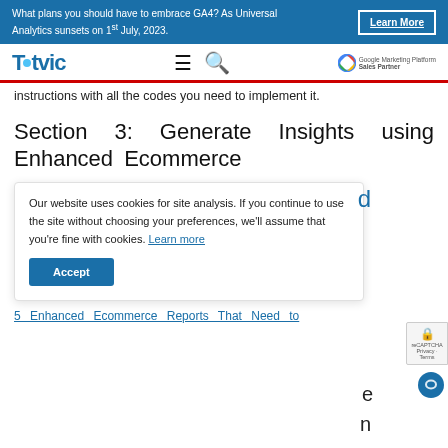What plans you should have to embrace GA4? As Universal Analytics sunsets on 1st July, 2023. Learn More
Tatvic [navigation logo and menu]
instructions with all the codes you need to implement it.
Section 3: Generate Insights using Enhanced Ecommerce
Our website uses cookies for site analysis. If you continue to use the site without choosing your preferences, we'll assume that you're fine with cookies. Learn more
Accept
5 Enhanced Ecommerce Reports That Need to